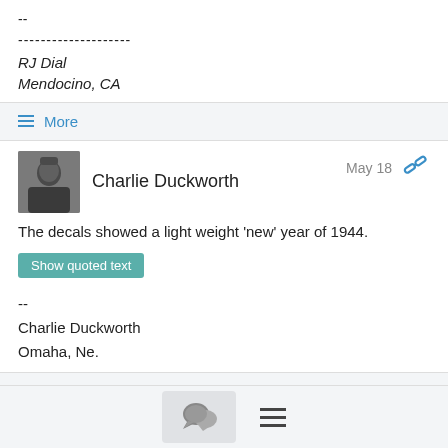--
--------------------
RJ Dial
Mendocino, CA
≡ More
Charlie Duckworth
May 18
The decals showed a light weight 'new' year of 1944.
Show quoted text
--
Charlie Duckworth
Omaha, Ne.
≡ More